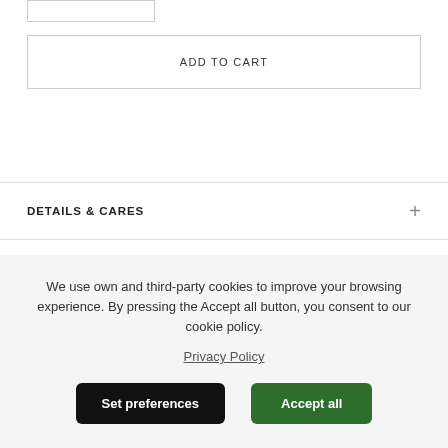[Figure (screenshot): Partial input box cropped at top of page]
ADD TO CART
DETAILS & CARES
SIZE GUIDE KNITWEAR
We use own and third-party cookies to improve your browsing experience. By pressing the Accept all button, you consent to our cookie policy.
Privacy Policy
Set preferences
Accept all